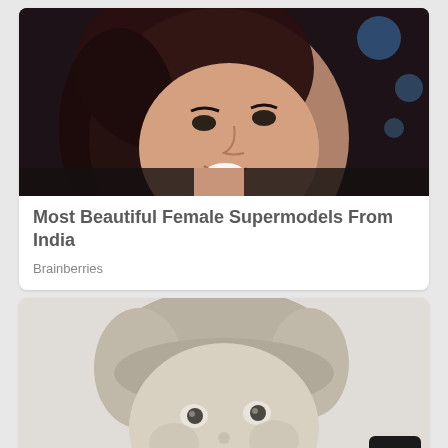[Figure (photo): Close-up photo of a smiling young woman with dark wavy hair, looking upward, against a dark background with colorful bokeh]
Most Beautiful Female Supermodels From India
Brainberries
[Figure (photo): Black and white photo of a young toddler with short hair, looking upward with mouth slightly open]
Can You Recognize These Cute Celeb